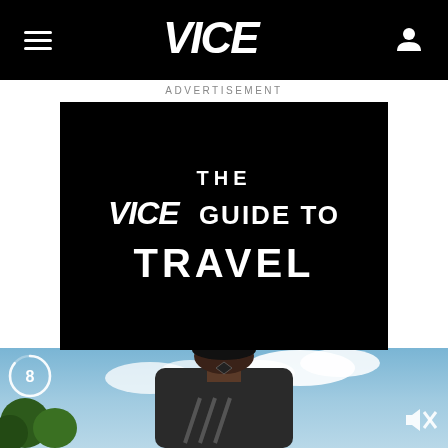VICE navigation header with hamburger menu, VICE logo, and user icon
ADVERTISEMENT
[Figure (screenshot): Black video frame showing 'THE VICE GUIDE TO TRAVEL' title card in white bold text on black background]
[Figure (photo): Photo of a young Black man wearing an Adidas jacket and a cap with 'RDC' logo, standing against a cloudy sky. Bottom-left shows green trees. A circular countdown timer showing '8' is visible in lower-left, and a mute/unmute icon is in lower-right.]